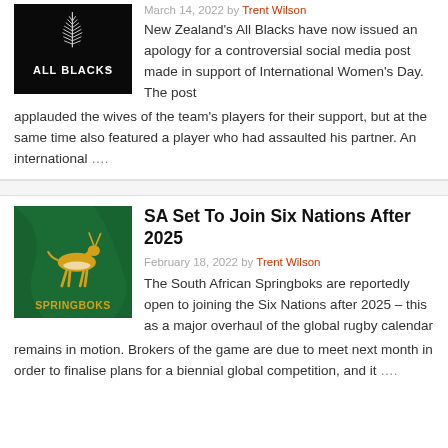[Figure (logo): All Blacks logo on black background — silver fern with 'ALL BLACKS' text]
March 14, 2022 by Trent Wilson
New Zealand's All Blacks have now issued an apology for a controversial social media post made in support of International Women's Day. The post applauded the wives of the team's players for their support, but at the same time also featured a player who had assaulted his partner. An international ….
[Figure (photo): Springboks logo on green background — golden springbok antelope on green jersey with 'SPRINGBOKS' text]
SA Set To Join Six Nations After 2025
February 18, 2022 by Trent Wilson
The South African Springboks are reportedly open to joining the Six Nations after 2025 – this as a major overhaul of the global rugby calendar remains in motion. Brokers of the game are due to meet next month in order to finalise plans for a biennial global competition, and it ….